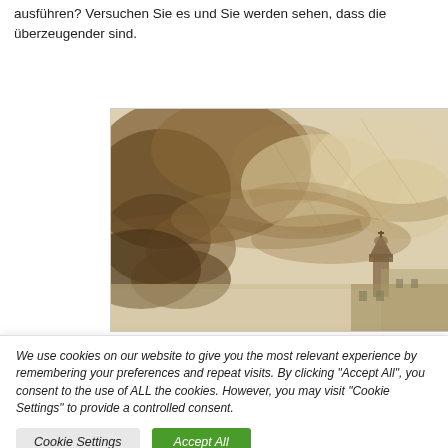ausführen? Versuchen Sie es und Sie werden sehen, dass die überzeugender sind.
[Figure (illustration): A watercolor painting showing a landscape with dramatic sepia/brown toned sky and clouds, with a small town or village with a church tower visible in the lower right portion of the image.]
We use cookies on our website to give you the most relevant experience by remembering your preferences and repeat visits. By clicking "Accept All", you consent to the use of ALL the cookies. However, you may visit "Cookie Settings" to provide a controlled consent.